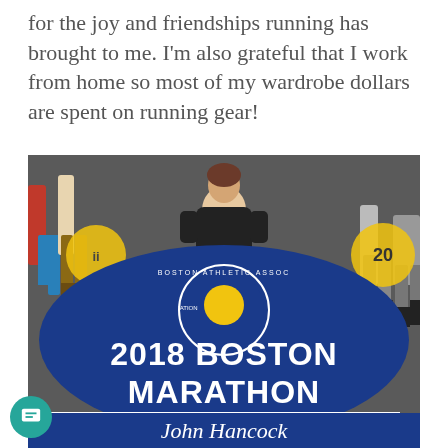for the joy and friendships running has brought to me. I'm also grateful that I work from home so most of my wardrobe dollars are spent on running gear!
[Figure (photo): A person crouching on the 2018 Boston Marathon starting line painted on the road, with the Boston Athletic Association logo (blue background, unicorn emblem) and John Hancock sponsor logo visible. Other people visible in background.]